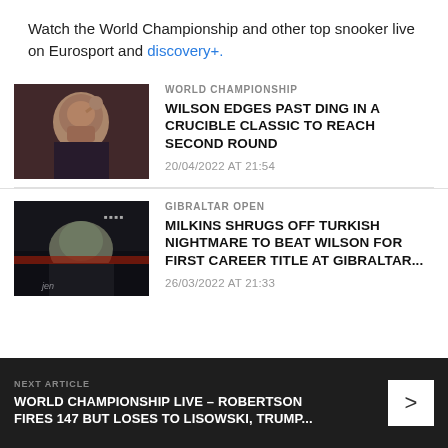Watch the World Championship and other top snooker live on Eurosport and discovery+.
[Figure (photo): Snooker player looking stressed, resting hand on head, dark background]
WORLD CHAMPIONSHIP
WILSON EDGES PAST DING IN A CRUCIBLE CLASSIC TO REACH SECOND ROUND
20/04/2022 AT 21:54
[Figure (photo): Snooker player in dark clothing, bending over table, dark background with 'jen' text visible]
GIBRALTAR OPEN
MILKINS SHRUGS OFF TURKISH NIGHTMARE TO BEAT WILSON FOR FIRST CAREER TITLE AT GIBRALTAR...
26/03/2022 AT 21:33
NEXT ARTICLE
WORLD CHAMPIONSHIP LIVE – ROBERTSON FIRES 147 BUT LOSES TO LISOWSKI, TRUMP...